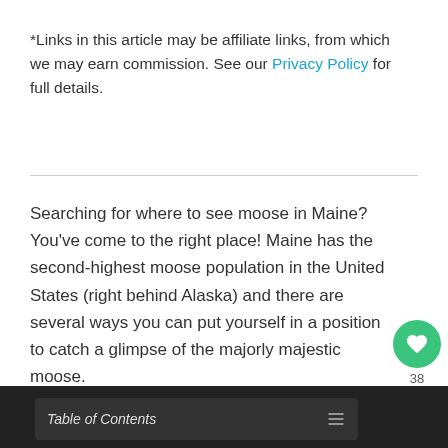*Links in this article may be affiliate links, from which we may earn commission. See our Privacy Policy for full details.
Searching for where to see moose in Maine? You've come to the right place! Maine has the second-highest moose population in the United States (right behind Alaska) and there are several ways you can put yourself in a position to catch a glimpse of the majorly majestic moose.
Table of Contents